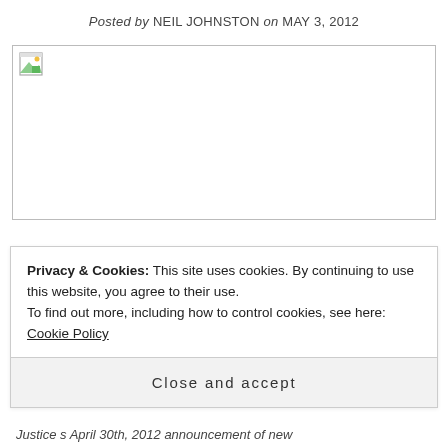Posted by NEIL JOHNSTON on MAY 3, 2012
[Figure (photo): Broken image placeholder with small icon in top-left corner]
Privacy & Cookies: This site uses cookies. By continuing to use this website, you agree to their use.
To find out more, including how to control cookies, see here: Cookie Policy
Close and accept
Justice s April 30th, 2012 announcement of new